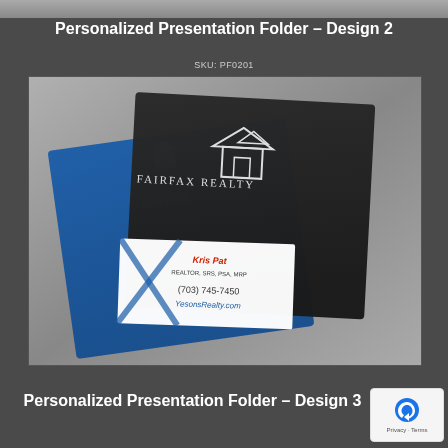[Figure (photo): Top grey strip at top of page]
Personalized Presentation Folder – Design 2
SKU: PF0201
[Figure (photo): Product photo showing two Fairfax Realty personalized presentation folders — one dark navy/black and one blue — displayed with a business card tucked into the front pocket showing Kris Pat's contact info: (703) 745-7450, YesonsRealty.com]
Personalized Presentation Folder – Design 3